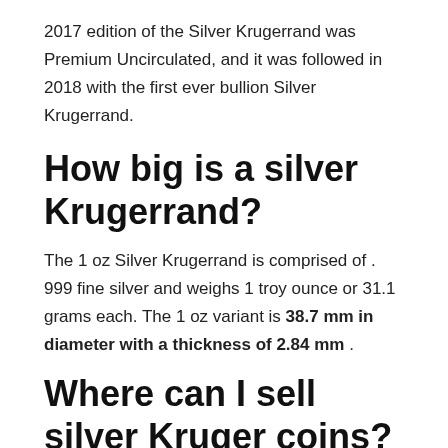2017 edition of the Silver Krugerrand was Premium Uncirculated, and it was followed in 2018 with the first ever bullion Silver Krugerrand.
How big is a silver Krugerrand?
The 1 oz Silver Krugerrand is comprised of . 999 fine silver and weighs 1 troy ounce or 31.1 grams each. The 1 oz variant is 38.7 mm in diameter with a thickness of 2.84 mm .
Where can I sell silver Kruger coins?